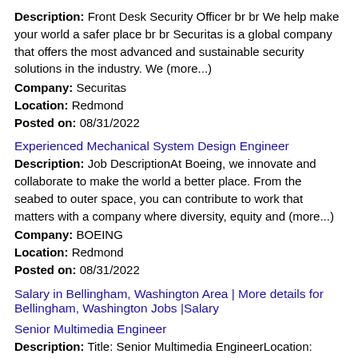Description: Front Desk Security Officer br br We help make your world a safer place br br Securitas is a global company that offers the most advanced and sustainable security solutions in the industry. We (more...)
Company: Securitas
Location: Redmond
Posted on: 08/31/2022
Experienced Mechanical System Design Engineer
Description: Job DescriptionAt Boeing, we innovate and collaborate to make the world a better place. From the seabed to outer space, you can contribute to work that matters with a company where diversity, equity and (more...)
Company: BOEING
Location: Redmond
Posted on: 08/31/2022
Salary in Bellingham, Washington Area | More details for Bellingham, Washington Jobs |Salary
Senior Multimedia Engineer
Description: Title: Senior Multimedia EngineerLocation: Redmond, WA On-Site PositionSalary: 125,000 - 160,000Requirements: C, C , StageFright Multimedia FrameworkOur client is one of the most